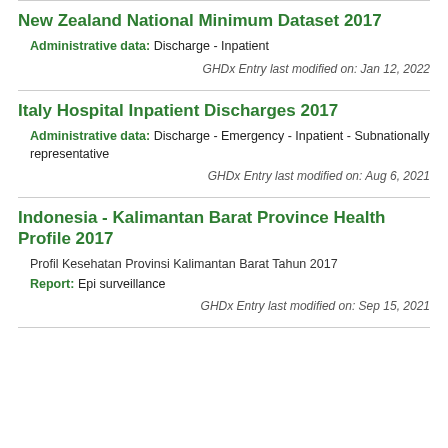New Zealand National Minimum Dataset 2017
Administrative data: Discharge - Inpatient
GHDx Entry last modified on: Jan 12, 2022
Italy Hospital Inpatient Discharges 2017
Administrative data: Discharge - Emergency - Inpatient - Subnationally representative
GHDx Entry last modified on: Aug 6, 2021
Indonesia - Kalimantan Barat Province Health Profile 2017
Profil Kesehatan Provinsi Kalimantan Barat Tahun 2017
Report: Epi surveillance
GHDx Entry last modified on: Sep 15, 2021